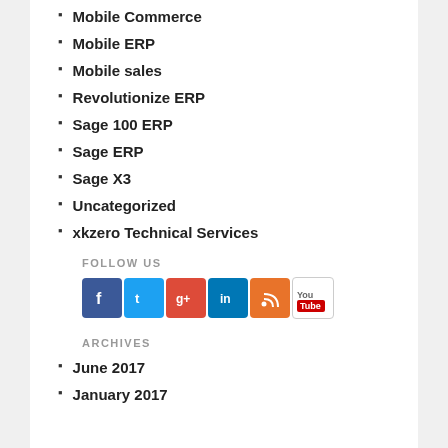Mobile Commerce
Mobile ERP
Mobile sales
Revolutionize ERP
Sage 100 ERP
Sage ERP
Sage X3
Uncategorized
xkzero Technical Services
FOLLOW US
[Figure (infographic): Social media icons: Facebook, Twitter, Google+, LinkedIn, RSS, YouTube]
ARCHIVES
June 2017
January 2017